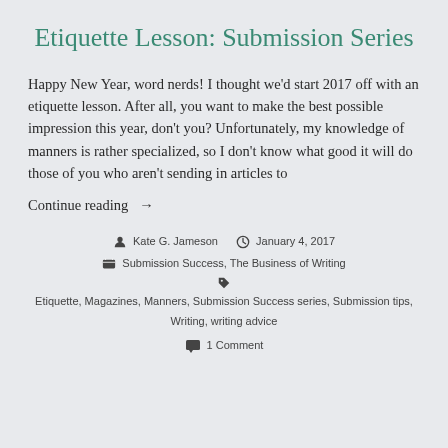Etiquette Lesson: Submission Series
Happy New Year, word nerds! I thought we'd start 2017 off with an etiquette lesson. After all, you want to make the best possible impression this year, don't you? Unfortunately, my knowledge of manners is rather specialized, so I don't know what good it will do those of you who aren't sending in articles to
Continue reading →
Kate G. Jameson  January 4, 2017  Submission Success, The Business of Writing  Etiquette, Magazines, Manners, Submission Success series, Submission tips, Writing, writing advice  1 Comment